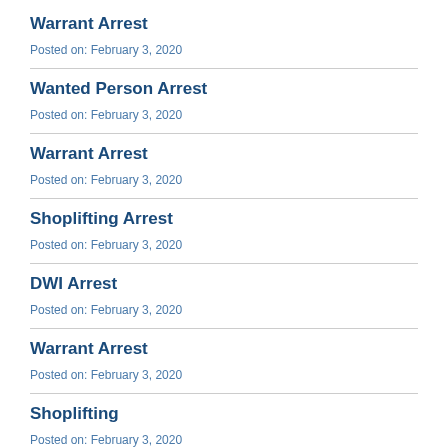Warrant Arrest
Posted on: February 3, 2020
Wanted Person Arrest
Posted on: February 3, 2020
Warrant Arrest
Posted on: February 3, 2020
Shoplifting Arrest
Posted on: February 3, 2020
DWI Arrest
Posted on: February 3, 2020
Warrant Arrest
Posted on: February 3, 2020
Shoplifting
Posted on: February 3, 2020